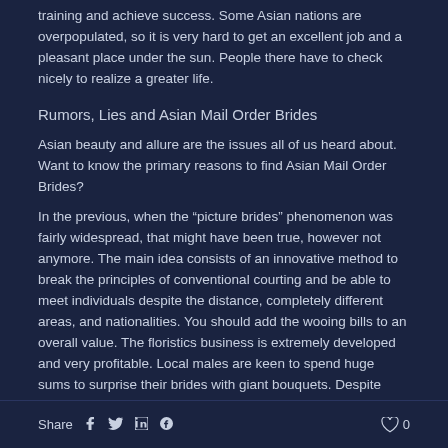training and achieve success. Some Asian nations are overpopulated, so it is very hard to get an excellent job and a pleasant place under the sun. People there have to check nicely to realize a greater life.
Rumors, Lies and Asian Mail Order Brides
Asian beauty and allure are the issues all of us heard about. Want to know the primary reasons to find Asian Mail Order Brides?
In the previous, when the “picture brides” phenomenon was fairly widespread, that might have been true, however not anymore. The main idea consists of an innovative method to break the principles of conventional courting and be able to meet individuals despite the distance, completely different areas, and nationalities. You should add the wooing bills to an overall value. The floristics business is extremely developed and very profitable. Local males are keen to spend huge sums to surprise their brides with giant bouquets. Despite their fragile looks, Oriental girls are real fighters.
Share  f  t  in  p  0